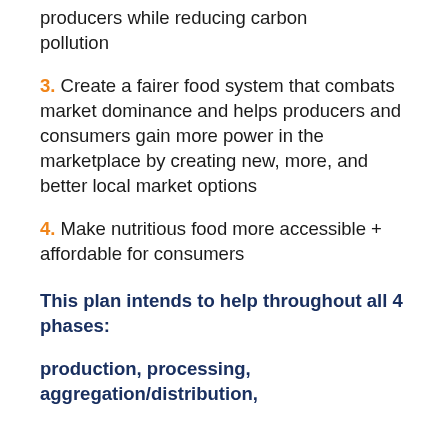producers while reducing carbon pollution
3. Create a fairer food system that combats market dominance and helps producers and consumers gain more power in the marketplace by creating new, more, and better local market options
4. Make nutritious food more accessible + affordable for consumers
This plan intends to help throughout all 4 phases:
production, processing, aggregation/distribution,